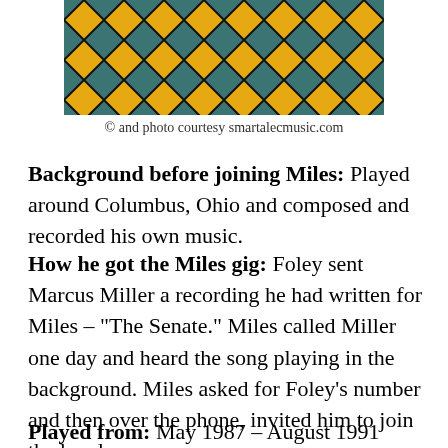[Figure (photo): Cropped photo showing colorful patterned image, yellow/black diamond pattern with teal background, partial view cut at top]
© and photo courtesy smartalecmusic.com
Background before joining Miles: Played around Columbus, Ohio and composed and recorded his own music.
How he got the Miles gig: Foley sent Marcus Miller a recording he had written for Miles – "The Senate." Miles called Miller one day and heard the song playing in the background. Miles asked for Foley's number and then over the phone, invited him to join the band.
Played from: May 1987 – August 1991